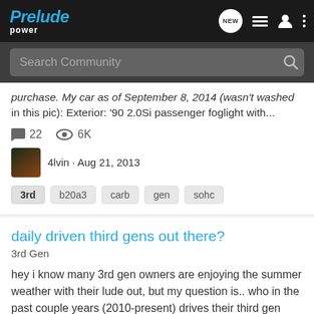Prelude Power
purchase. My car as of September 8, 2014 (wasn't washed in this pic): Exterior: '90 2.0Si passenger foglight with...
22  6K
4lvin · Aug 21, 2013
3rd  b20a3  carb  gen  sohc
daily driven third gens out there?
3rd Gen
hey i know many 3rd gen owners are enjoying the summer weather with their lude out, but my question is.. who in the past couple years (2010-present) drives their third gen everyday, or uses it as their DD? have had mine less than a month and curious add more info like what you do in prep for...